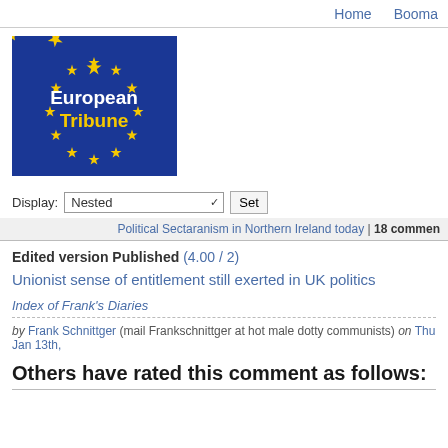Home  Booma
[Figure (logo): European Tribune logo: dark blue background with yellow EU stars arranged in a circle, text 'European Tribune' in white/yellow]
Display: Nested [dropdown] Set
Political Sectaranism in Northern Ireland today | 18 commen
Edited version Published (4.00 / 2)
Unionist sense of entitlement still exerted in UK politics
Index of Frank's Diaries
by Frank Schnittger (mail Frankschnittger at hot male dotty communists) on Thu Jan 13th,
Others have rated this comment as follows: